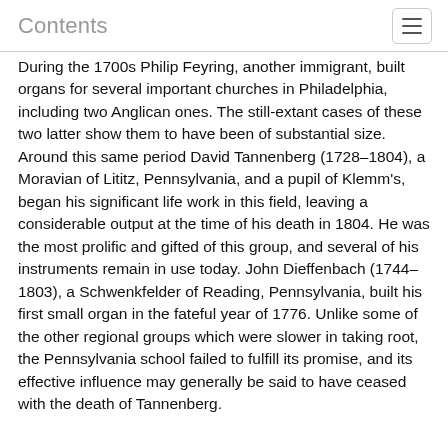Contents
During the 1700s Philip Feyring, another immigrant, built organs for several important churches in Philadelphia, including two Anglican ones. The still-extant cases of these two latter show them to have been of substantial size. Around this same period David Tannenberg (1728–1804), a Moravian of Lititz, Pennsylvania, and a pupil of Klemm's, began his significant life work in this field, leaving a considerable output at the time of his death in 1804. He was the most prolific and gifted of this group, and several of his instruments remain in use today. John Dieffenbach (1744–1803), a Schwenkfelder of Reading, Pennsylvania, built his first small organ in the fateful year of 1776. Unlike some of the other regional groups which were slower in taking root, the Pennsylvania school failed to fulfill its promise, and its effective influence may generally be said to have ceased with the death of Tannenberg.